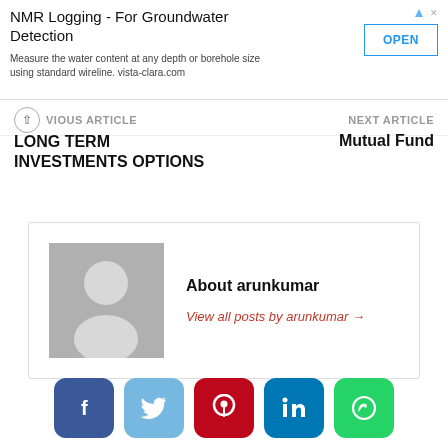[Figure (other): Advertisement banner: NMR Logging - For Groundwater Detection. Measure the water content at any depth or borehole size using standard wireline. vista-clara.com. OPEN button.]
PREVIOUS ARTICLE | NEXT ARTICLE
LONG TERM INVESTMENTS OPTIONS
Mutual Fund
[Figure (other): Author box with placeholder avatar silhouette. About arunkumar. View all posts by arunkumar →]
[Figure (other): Social share buttons: Facebook, Twitter, Pinterest, LinkedIn, WhatsApp]